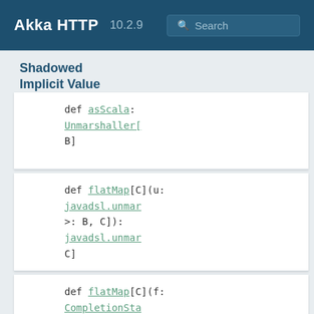Akka HTTP 10.2.9 Search
Shadowed Implicit Value
def asScala: Unmarshaller[B]
def flatMap[C](u: javadsl.unmar >: B, C]): javadsl.unmar C]
def flatMap[C](f: CompletionSta javadsl.unmar C]
def thenApply[C]( javadsl.unmar C]

Transform the res producing a mars